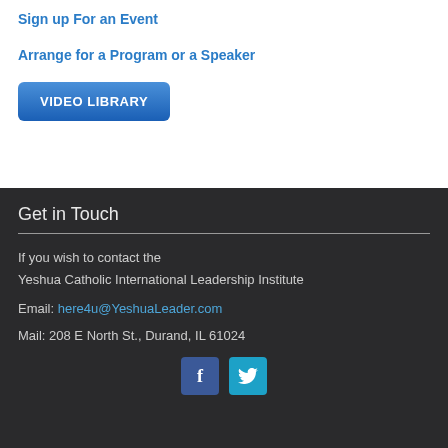Sign up For an Event
Arrange for a Program or a Speaker
VIDEO LIBRARY
Get in Touch
If you wish to contact the Yeshua Catholic International Leadership Institute
Email: here4u@YeshuaLeader.com
Mail: 208 E North St., Durand, IL 61024
[Figure (other): Facebook and Twitter social media icon buttons]